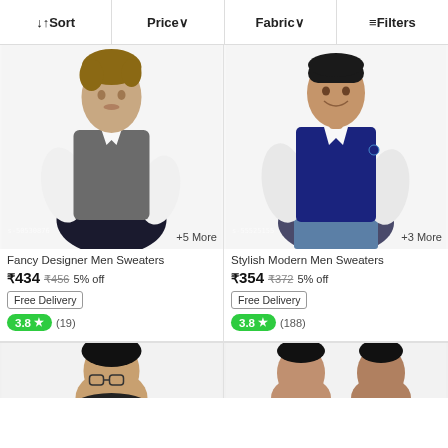↓↑ Sort | Price ∨ | Fabric ∨ | ≡ Filters
[Figure (photo): Man wearing grey sleeveless sweater vest over white shirt, looking down]
+5 More
Fancy Designer Men Sweaters
₹434  ₹456  5% off
Free Delivery
3.8 ★ (19)
[Figure (photo): Man wearing navy blue sleeveless sweater vest over white shirt, smiling]
+3 More
Stylish Modern Men Sweaters
₹354  ₹372  5% off
Free Delivery
3.8 ★ (188)
[Figure (photo): Man wearing glasses and dark sweater, partially visible]
[Figure (photo): Two men in sweaters, partially visible at bottom]